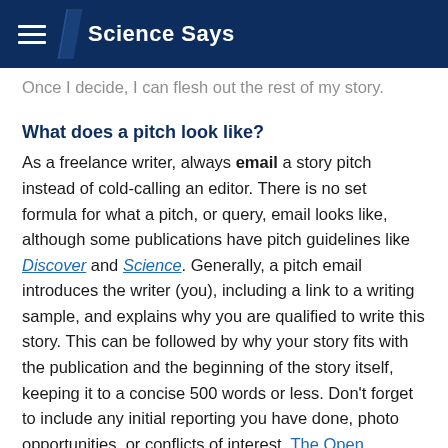Science Says
Once I decide, I can flesh out the rest of my story.
What does a pitch look like?
As a freelance writer, always email a story pitch instead of cold-calling an editor. There is no set formula for what a pitch, or query, email looks like, although some publications have pitch guidelines like Discover and Science. Generally, a pitch email introduces the writer (you), including a link to a writing sample, and explains why you are qualified to write this story. This can be followed by why your story fits with the publication and the beginning of the story itself, keeping it to a concise 500 words or less. Don't forget to include any initial reporting you have done, photo opportunities, or conflicts of interest. The Open Notebook Pitch Database has a